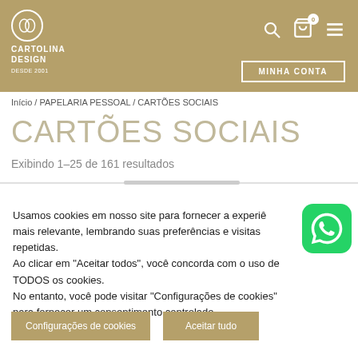[Figure (logo): Cartolina Design logo with circular emblem and text 'CARTOLINA DESIGN desde 2001' on gold/tan header]
MINHA CONTA
Início / PAPELARIA PESSOAL / CARTÕES SOCIAIS
CARTÕES SOCIAIS
Exibindo 1–25 de 161 resultados
Usamos cookies em nosso site para fornecer a experiê mais relevante, lembrando suas preferências e visitas repetidas.
Ao clicar em "Aceitar todos", você concorda com o uso de TODOS os cookies.
No entanto, você pode visitar "Configurações de cookies" para fornecer um consentimento controlado.
Configurações de cookies
Aceitar tudo